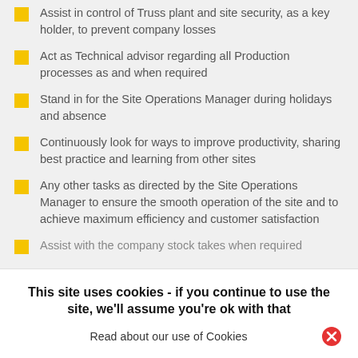Assist in control of Truss plant and site security, as a key holder, to prevent company losses
Act as Technical advisor regarding all Production processes as and when required
Stand in for the Site Operations Manager during holidays and absence
Continuously look for ways to improve productivity, sharing best practice and learning from other sites
Any other tasks as directed by the Site Operations Manager to ensure the smooth operation of the site and to achieve maximum efficiency and customer satisfaction
Assist with the company stock takes when required
This site uses cookies - if you continue to use the site, we'll assume you're ok with that
Read about our use of Cookies